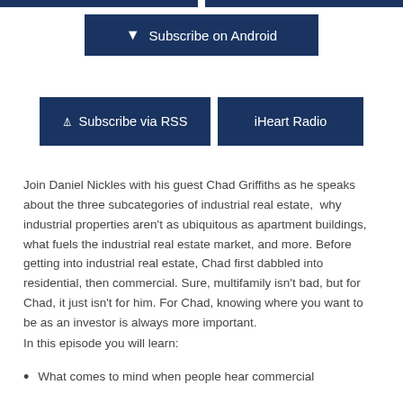[Figure (screenshot): Partial dark navy blue buttons row at top of page (cropped)]
[Figure (screenshot): Dark navy blue button: Subscribe on Android with Android icon]
[Figure (screenshot): Dark navy blue buttons row: Subscribe via RSS (with RSS icon) and iHeart Radio]
Join Daniel Nickles with his guest Chad Griffiths as he speaks about the three subcategories of industrial real estate,  why industrial properties aren't as ubiquitous as apartment buildings, what fuels the industrial real estate market, and more. Before getting into industrial real estate, Chad first dabbled into residential, then commercial. Sure, multifamily isn't bad, but for Chad, it just isn't for him. For Chad, knowing where you want to be as an investor is always more important.
In this episode you will learn:
What comes to mind when people hear commercial